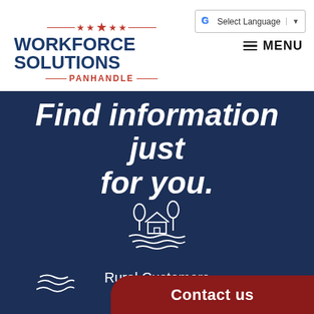[Figure (logo): Workforce Solutions Panhandle logo with stars and red lines]
Select Language
MENU
Find information just for you.
[Figure (illustration): White line art icon of a rural farmhouse with trees and rolling fields]
Rural Customers
Contact us